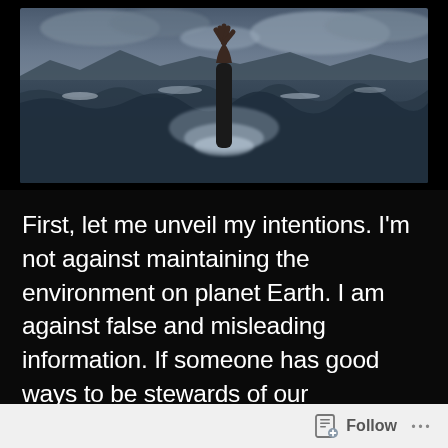[Figure (photo): A dramatic ocean scene with a hand reaching up out of turbulent dark waves, overcast stormy sky with clouds in the background, mountains visible on the horizon.]
First, let me unveil my intentions. I'm not against maintaining the environment on planet Earth. I am against false and misleading information. If someone has good ways to be stewards of our
Follow ···